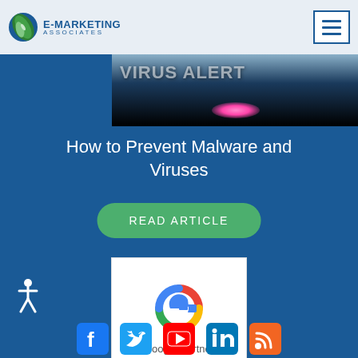E-Marketing Associates
[Figure (screenshot): Virus Alert hero banner image with dark background and pink glow light effect]
How to Prevent Malware and Viruses
READ ARTICLE
[Figure (logo): Google Partner badge with Google G logo and text 'Google Partner']
[Figure (illustration): Accessibility person icon in white]
[Figure (infographic): Social media icons: Facebook, Twitter, YouTube, LinkedIn, RSS feed]